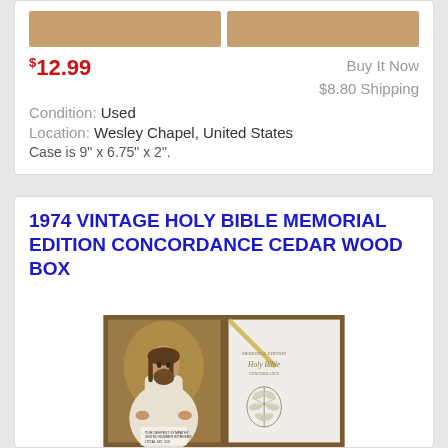$12.99
Buy It Now
$8.80 Shipping
Condition: Used
Location: Wesley Chapel, United States
Case is 9" x 6.75" x 2".
1974 VINTAGE HOLY BIBLE MEMORIAL EDITION CONCORDANCE CEDAR WOOD BOX
[Figure (photo): Open cedar wood box containing a painting of Jesus Christ on the left panel and a white Holy Bible Memorial Edition with Concordance on the right, with a floral lily design on the cover.]